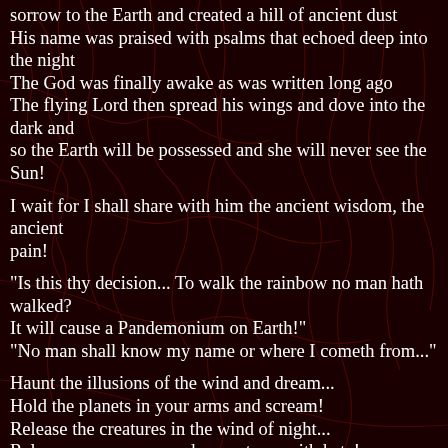sorrow to the Earth and created a hill of ancient dust
His name was praised with psalms that echoed deep into the night
The God was finally awake as was written long ago
The flying Lord then spread his wings and dove into the dark and so the Earth will be possessed and she will never see the Sun!
I wait for I shall share with him the ancient wisdom, the ancient pain!
"Is this thy decision... To walk the rainbow no man hath walked? It will cause a Pandemonium on Earth!"
"No man shall know my name or where I cometh from..."
Haunt the illusions of the wind and dream...
Hold the planets in your arms and scream!
Release the creatures in the wind of night...
Release your powers and your storm with hate!
Spread your force Nyarlathothep: Invoke the spirits of the dead...
The night of a thousand stars!
Walk the rainbow no man has walked and bring the hearts of endless moons... your highest desire!
Hear the voices of a thousand souls: Invoke the demon and the ghosts to enter the gates of sadness
Hold the torch and walk beyond, you are the Amorphus creature